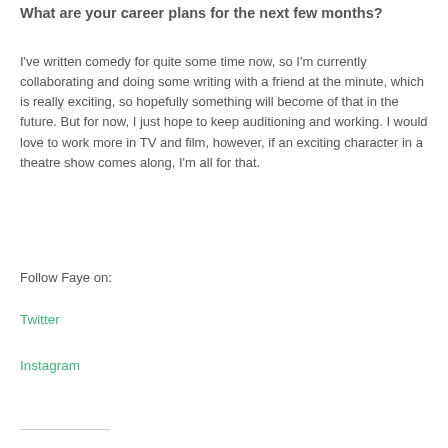What are your career plans for the next few months?
I've written comedy for quite some time now, so I'm currently collaborating and doing some writing with a friend at the minute, which is really exciting, so hopefully something will become of that in the future. But for now, I just hope to keep auditioning and working. I would love to work more in TV and film, however, if an exciting character in a theatre show comes along, I'm all for that.
Follow Faye on:
Twitter
Instagram